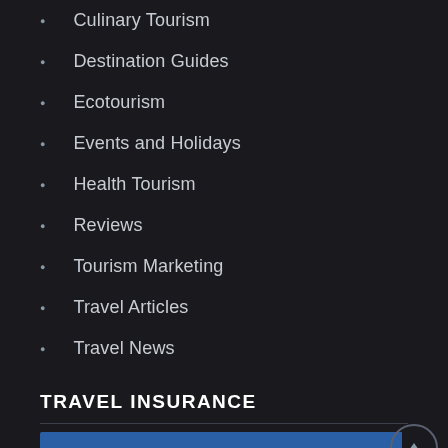Culinary Tourism
Destination Guides
Ecotourism
Events and Holidays
Health Tourism
Reviews
Tourism Marketing
Travel Articles
Travel News
TRAVEL INSURANCE
[Figure (other): Blue banner/image area below the Travel Insurance section header]